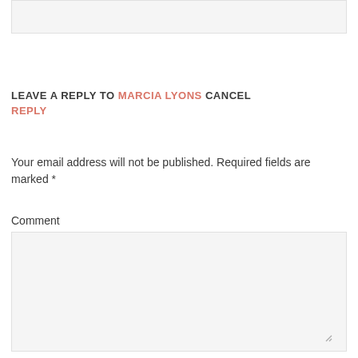[Figure (screenshot): Top input text box (grayed out form field at top of page)]
LEAVE A REPLY TO MARCIA LYONS CANCEL REPLY
Your email address will not be published. Required fields are marked *
Comment
[Figure (screenshot): Comment textarea input box]